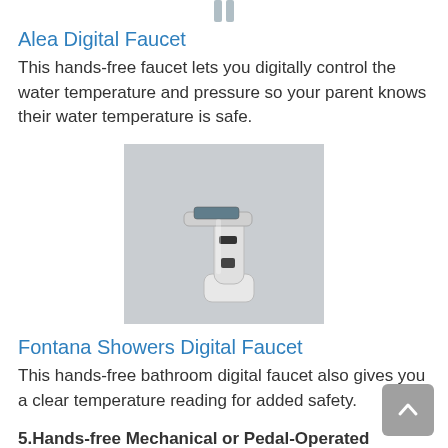[Figure (illustration): Partial top view of a digital faucet illustration at top of page]
Alea Digital Faucet
This hands-free faucet lets you digitally control the water temperature and pressure so your parent knows their water temperature is safe.
[Figure (photo): Photo of a chrome hands-free bathroom digital faucet with sensor and digital display on top, white background]
Fontana Showers Digital Faucet
This hands-free bathroom digital faucet also gives you a clear temperature reading for added safety.
5.Hands-free Mechanical or Pedal-Operated Faucets are similar in function to